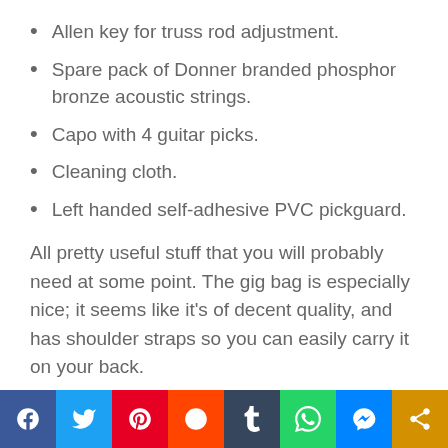Allen key for truss rod adjustment.
Spare pack of Donner branded phosphor bronze acoustic strings.
Capo with 4 guitar picks.
Cleaning cloth.
Left handed self-adhesive PVC pickguard.
All pretty useful stuff that you will probably need at some point. The gig bag is especially nice; it seems like it's of decent quality, and has shoulder straps so you can easily carry it on your back.
[Figure (infographic): Social media share bar with icons for Facebook, Twitter, Pinterest, Reddit, Tumblr, WhatsApp, Messenger, and Share.]